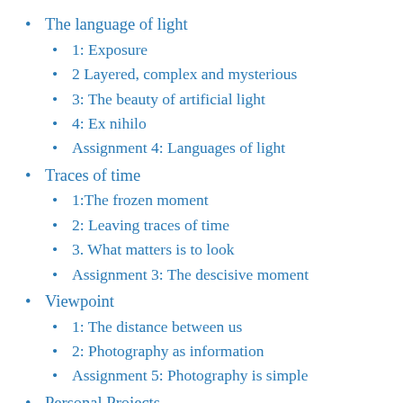The language of light
1: Exposure
2 Layered, complex and mysterious
3: The beauty of artificial light
4: Ex nihilo
Assignment 4: Languages of light
Traces of time
1:The frozen moment
2: Leaving traces of time
3. What matters is to look
Assignment 3: The descisive moment
Viewpoint
1: The distance between us
2: Photography as information
Assignment 5: Photography is simple
Personal Projects